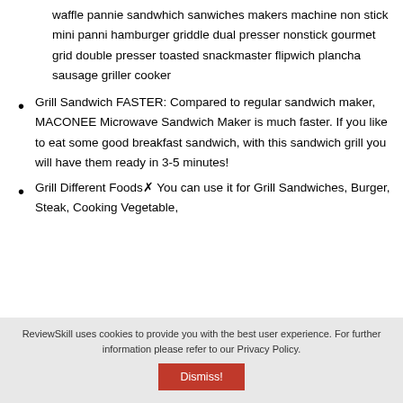waffle pannie sandwhich sanwiches makers machine non stick mini panni hamburger griddle dual presser nonstick gourmet grid double presser toasted snackmaster flipwich plancha sausage griller cooker
Grill Sandwich FASTER: Compared to regular sandwich maker, MACONEE Microwave Sandwich Maker is much faster. If you like to eat some good breakfast sandwich, with this sandwich grill you will have them ready in 3-5 minutes!
Grill Different Foods❧ You can use it for Grill Sandwiches, Burger, Steak, Cooking Vegetable,
ReviewSkill uses cookies to provide you with the best user experience. For further information please refer to our Privacy Policy.